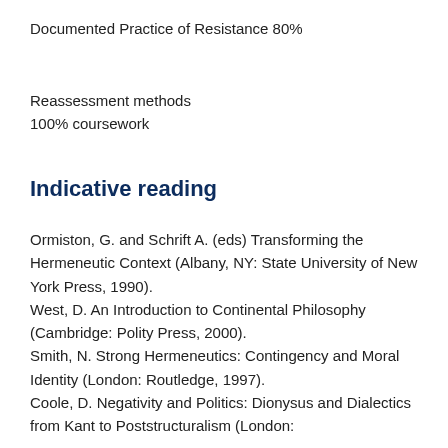Documented Practice of Resistance 80%
Reassessment methods
100% coursework
Indicative reading
Ormiston, G. and Schrift A. (eds) Transforming the Hermeneutic Context (Albany, NY: State University of New York Press, 1990).
West, D. An Introduction to Continental Philosophy (Cambridge: Polity Press, 2000).
Smith, N. Strong Hermeneutics: Contingency and Moral Identity (London: Routledge, 1997).
Coole, D. Negativity and Politics: Dionysus and Dialectics from Kant to Poststructuralism (London: